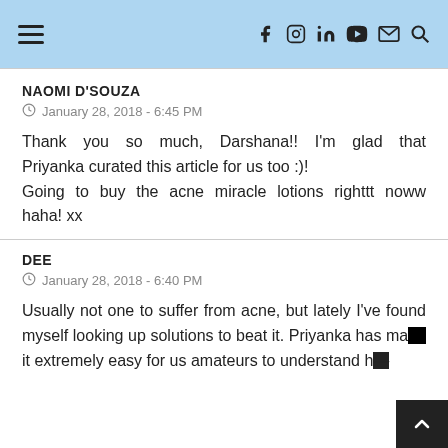≡  f  Instagram  in  YouTube  ✉  🔍
NAOMI D'SOUZA
January 28, 2018 - 6:45 PM
Thank you so much, Darshana!! I'm glad that Priyanka curated this article for us too :)!
Going to buy the acne miracle lotions righttt noww haha! xx
DEE
January 28, 2018 - 6:40 PM
Usually not one to suffer from acne, but lately I've found myself looking up solutions to beat it. Priyanka has made it extremely easy for us amateurs to understand h